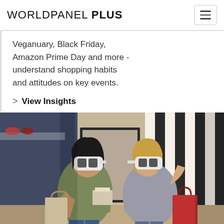WORLDPANEL PLUS
Veganuary, Black Friday, Amazon Prime Day and more - understand shopping habits and attitudes on key events.
> View Insights
[Figure (photo): Two women wearing VR headsets in a shopping environment, one carrying shopping bags]